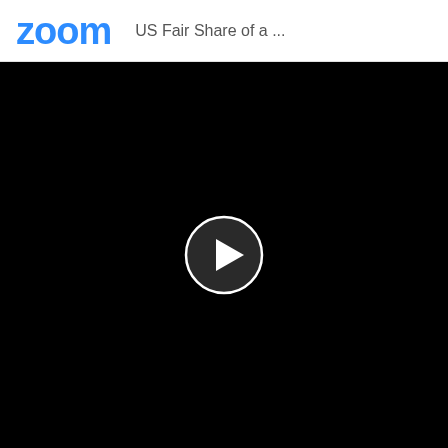zoom  US Fair Share of a ...
[Figure (screenshot): Black video player area with a circular play button in the center. The play button has a white circular border, a dark background, and a white right-pointing triangle (play icon) in the middle.]